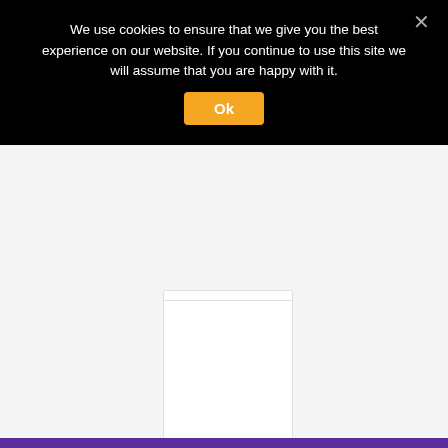We use cookies to ensure that we give you the best experience on our website. If you continue to use this site we will assume that you are happy with it.
[Figure (screenshot): Cookie consent banner with black background, white text, orange 'Ok' button, and a grey X close button]
[Figure (other): Product card showing 'LED T5 Tubes' in purple italic text on white card with light border]